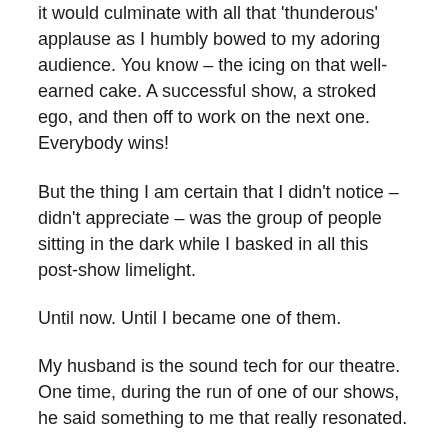it would culminate with all that 'thunderous' applause as I humbly bowed to my adoring audience. You know – the icing on that well-earned cake. A successful show, a stroked ego, and then off to work on the next one. Everybody wins!
But the thing I am certain that I didn't notice – didn't appreciate – was the group of people sitting in the dark while I basked in all this post-show limelight.
Until now. Until I became one of them.
My husband is the sound tech for our theatre. One time, during the run of one of our shows, he said something to me that really resonated.
“If I’m doing my job right, you won’t notice me.”
At the time that he said that – back in my oblivious actor